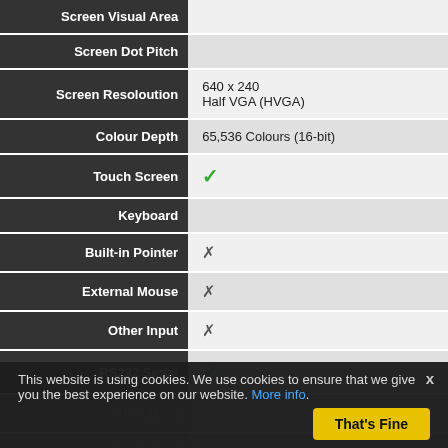| Specification | Value |
| --- | --- |
| Screen Visual Area |  |
| Screen Dot Pitch |  |
| Screen Resoloution | 640 x 240 Half VGA (HVGA) |
| Colour Depth | 65,536 Colours (16-bit) |
| Touch Screen | ✓ |
| Keyboard |  |
| Built-in Pointer | ✗ |
| External Mouse | ✗ |
| Other Input | ✗ |
| RS232 Serial | ✓ |
| USB Host | ✗ |
| USB Client |  |
This website is using cookies. We use cookies to ensure that we give you the best experience on our website. More info.